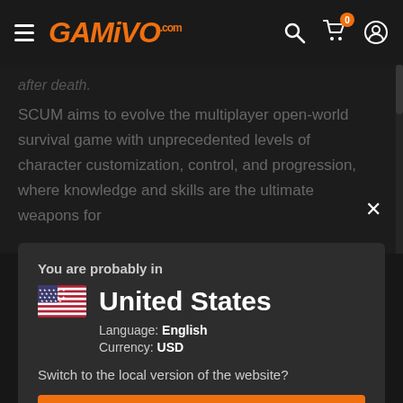GAMIVO.com
after death.
SCUM aims to evolve the multiplayer open-world survival game with unprecedented levels of character customization, control, and progression, where knowledge and skills are the ultimate weapons for
You are probably in
United States
Language: English
Currency: USD
Switch to the local version of the website?
YES